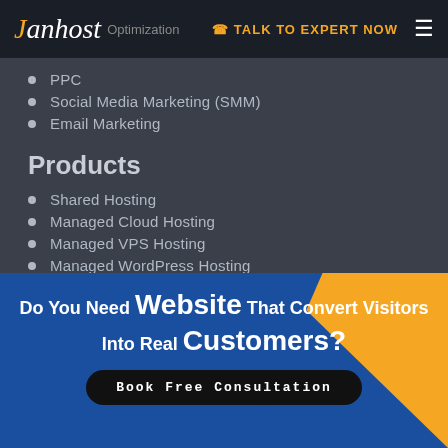Janhost | Optimization | TALK TO EXPERT NOW
PPC
Social Media Marketing (SMM)
Email Marketing
Products
Shared Hosting
Managed Cloud Hosting
Managed VPS Hosting
Managed WordPress Hosting
Managed Dedicated Hosting
Services
Do You Need Website That Convert Visitors Into Real Customers?
Book Free Consultation